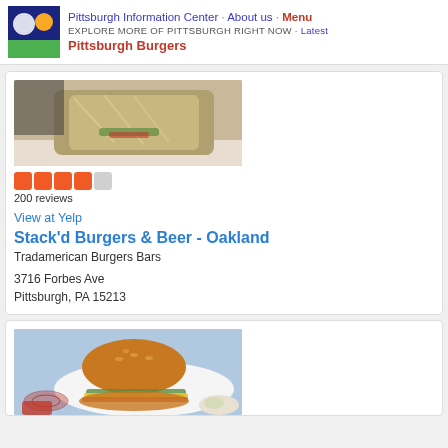Pittsburgh Information Center · About us · Menu
EXPLORE MORE OF PITTSBURGH RIGHT NOW · Latest
Pittsburgh Burgers
[Figure (photo): Food photo showing a wrapped burger or sandwich in foil on a plate]
200 reviews
View at Yelp
Stack'd Burgers & Beer - Oakland
Tradamerican Burgers Bars
3716 Forbes Ave
Pittsburgh, PA 15213
[Figure (photo): Food photo showing a cheeseburger on a bun with lettuce and a side of condiments on a white plate]